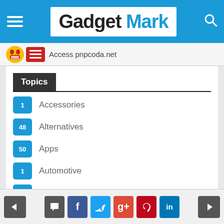Gadget Mark
Access pnpcoda.net
Topics
1 Accessories
48 Alternatives
50 Apps
1 Automotive
3 Business
19 Entertainment
4 Featured
12 Gadgets